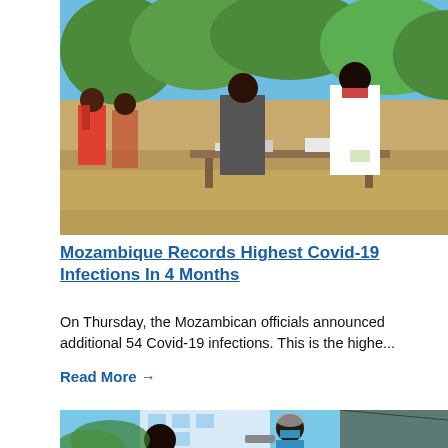[Figure (photo): Women wearing face masks standing in line outdoors at a table where a health worker in a white UNOCHA vest and gloves examines documents or supplies. Trees and dry ground visible in the background.]
Mozambique Records Highest Covid-19 Infections In 4 Months
On Thursday, the Mozambican officials announced additional 54 Covid-19 infections. This is the highe...
Read More →
[Figure (photo): A healthcare worker in PPE pointing a temperature scanner at a person's forehead outside a building with a tented area. Tropical plants and a modern building visible in background.]